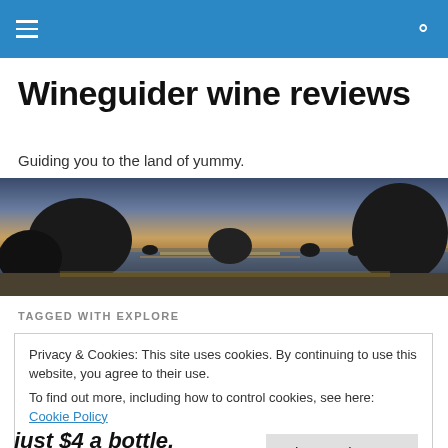☰  🔍
Wineguider wine reviews
Guiding you to the land of yummy.
[Figure (photo): Panoramic sunset beach scene with large rock silhouettes and calm ocean water reflecting golden light]
TAGGED WITH EXPLORE
Privacy & Cookies: This site uses cookies. By continuing to use this website, you agree to their use.
To find out more, including how to control cookies, see here: Cookie Policy
[Close and accept]
just $4 a bottle.